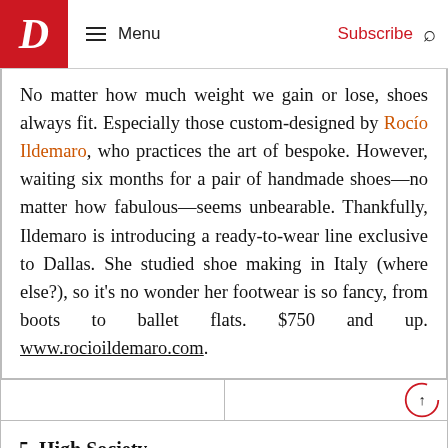D | Menu | Subscribe
No matter how much weight we gain or lose, shoes always fit. Especially those custom-designed by Rocío Ildemaro, who practices the art of bespoke. However, waiting six months for a pair of handmade shoes—no matter how fabulous—seems unbearable. Thankfully, Ildemaro is introducing a ready-to-wear line exclusive to Dallas. She studied shoe making in Italy (where else?), so it's no wonder her footwear is so fancy, from boots to ballet flats. $750 and up. www.rocioildemaro.com.
5. High Society